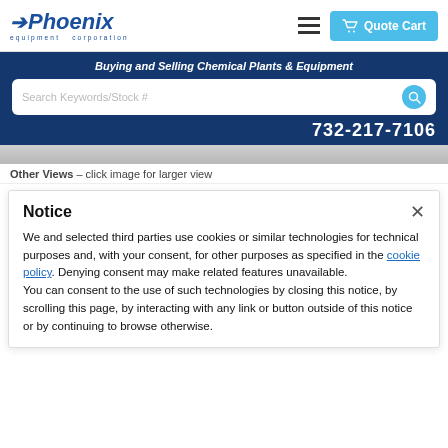[Figure (logo): Phoenix Equipment Corporation logo with blue italic text and arrow symbol]
Quote Cart
Buying and Selling Chemical Plants & Equipment
Search Keywords/Stock #
732-217-7106
Other Views – click image for larger view
Notice
We and selected third parties use cookies or similar technologies for technical purposes and, with your consent, for other purposes as specified in the cookie policy. Denying consent may make related features unavailable. You can consent to the use of such technologies by closing this notice, by scrolling this page, by interacting with any link or button outside of this notice or by continuing to browse otherwise.